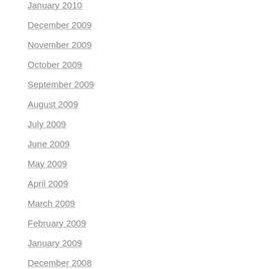January 2010
December 2009
November 2009
October 2009
September 2009
August 2009
July 2009
June 2009
May 2009
April 2009
March 2009
February 2009
January 2009
December 2008